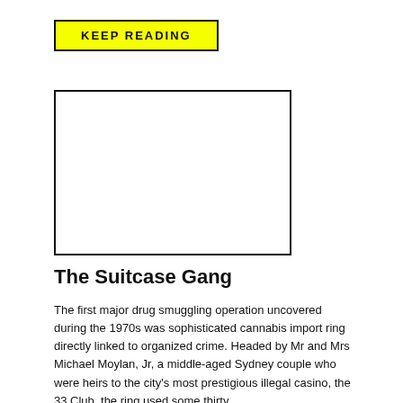[Figure (other): Yellow 'KEEP READING' button with black border and bold uppercase text]
[Figure (other): Empty white image placeholder with black border rectangle]
The Suitcase Gang
The first major drug smuggling operation uncovered during the 1970s was sophisticated cannabis import ring directly linked to organized crime. Headed by Mr and Mrs Michael Moylan, Jr, a middle-aged Sydney couple who were heirs to the city's most prestigious illegal casino, the 33 Club, the ring used some thirty